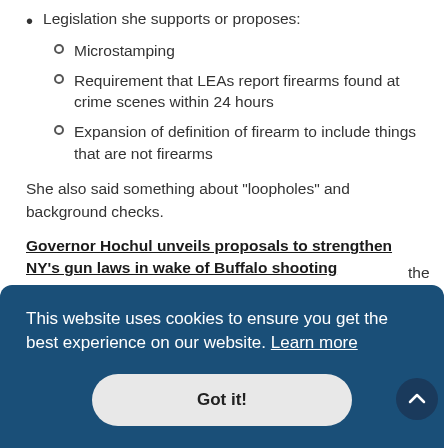Legislation she supports or proposes:
Microstamping
Requirement that LEAs report firearms found at crime scenes within 24 hours
Expansion of definition of firearm to include things that are not firearms
She also said something about "loopholes" and background checks.
Governor Hochul unveils proposals to strengthen NY's gun laws in wake of Buffalo shooting
This website uses cookies to ensure you get the best experience on our website. Learn more
Got it!